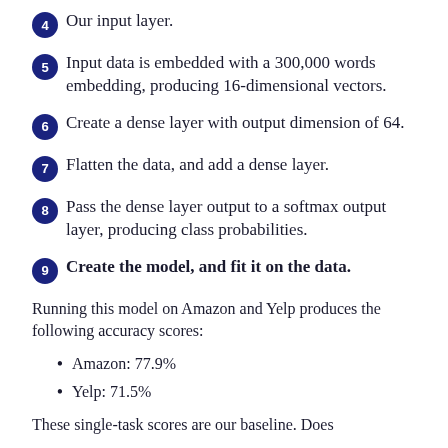4 Our input layer.
5 Input data is embedded with a 300,000 words embedding, producing 16-dimensional vectors.
6 Create a dense layer with output dimension of 64.
7 Flatten the data, and add a dense layer.
8 Pass the dense layer output to a softmax output layer, producing class probabilities.
9 Create the model, and fit it on the data.
Running this model on Amazon and Yelp produces the following accuracy scores:
Amazon: 77.9%
Yelp: 71.5%
These single-task scores are our baseline. Does